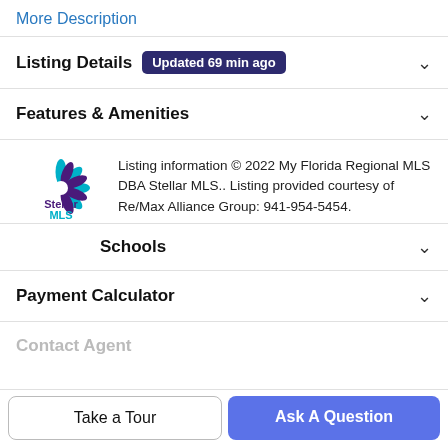More Description
Listing Details  Updated 69 min ago
Features & Amenities
[Figure (logo): Stellar MLS logo with star-shaped icon in teal and purple, text reads Stellar MLS]
Listing information © 2022 My Florida Regional MLS DBA Stellar MLS.. Listing provided courtesy of Re/Max Alliance Group: 941-954-5454.
Schools
Payment Calculator
Contact Agent
Take a Tour
Ask A Question